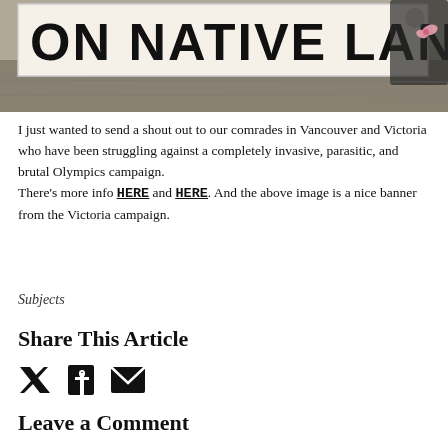[Figure (photo): Photograph of a protest banner reading 'ON NATIVE LAND' in large black block letters on white fabric, held outdoors with greenery in background]
I just wanted to send a shout out to our comrades in Vancouver and Victoria who have been struggling against a completely invasive, parasitic, and brutal Olympics campaign. There's more info HERE and HERE. And the above image is a nice banner from the Victoria campaign.
Subjects
Share This Article
[Figure (infographic): Social sharing icons: Twitter bird icon, Facebook f icon, and email envelope icon]
Leave a Comment